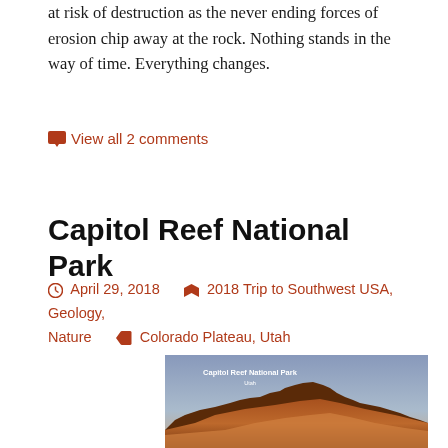at risk of destruction as the never ending forces of erosion chip away at the rock. Nothing stands in the way of time. Everything changes.
View all 2 comments
Capitol Reef National Park
April 29, 2018   2018 Trip to Southwest USA, Geology, Nature   Colorado Plateau, Utah
[Figure (photo): Photograph of Capitol Reef National Park, Utah, showing layered red and orange rock formations (buttes/mesas) against a blue-grey sky, with text overlay reading 'Capitol Reef National Park Utah']